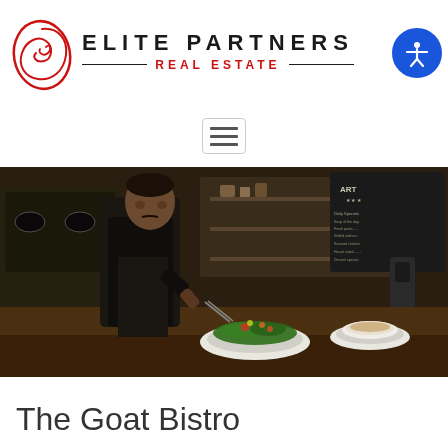[Figure (logo): Elite Partners Real Estate logo with red swirl ellipse and black text with red 'REAL ESTATE' subtitle]
[Figure (other): Hamburger/menu icon in a rounded rectangle border]
[Figure (photo): A chef in black uniform plating a salad dish at a restaurant counter, with kitchen equipment and chalkboard menus in the background]
The Goat Bistro